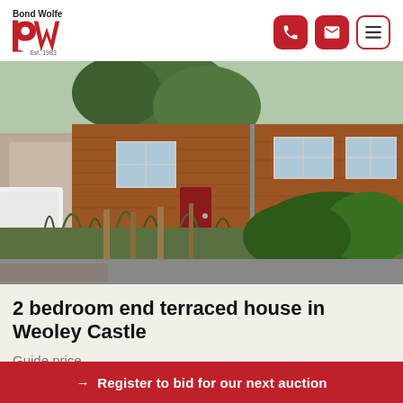[Figure (logo): Bond Wolfe logo with red 'bw' lettering and 'Est. 1983' text]
[Figure (photo): Exterior photo of a 2-bedroom end terraced house in Weoley Castle, Birmingham. Red brick semi-detached house with overgrown front garden, wooden fence posts, white van on left, green hedge on right.]
2 bedroom end terraced house in Weoley Castle
Guide price
→ Register to bid for our next auction